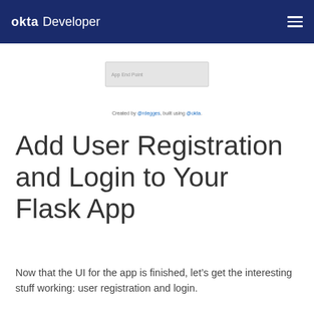okta Developer
[Figure (screenshot): Partial screenshot of a web application UI showing an input field area with light gray background]
Created by @rdegges, built using @okta.
Add User Registration and Login to Your Flask App
Now that the UI for the app is finished, let’s get the interesting stuff working: user registration and login.